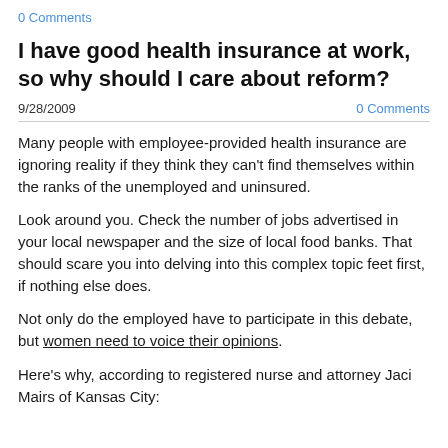0 Comments
I have good health insurance at work, so why should I care about reform?
9/28/2009   0 Comments
Many people with employee-provided health insurance are ignoring reality if they think they can't find themselves within the ranks of the unemployed and uninsured.
Look around you. Check the number of jobs advertised in your local newspaper and the size of local food banks. That should scare you into delving into this complex topic feet first, if nothing else does.
Not only do the employed have to participate in this debate, but women need to voice their opinions.
Here's why, according to registered nurse and attorney Jaci Mairs of Kansas City: